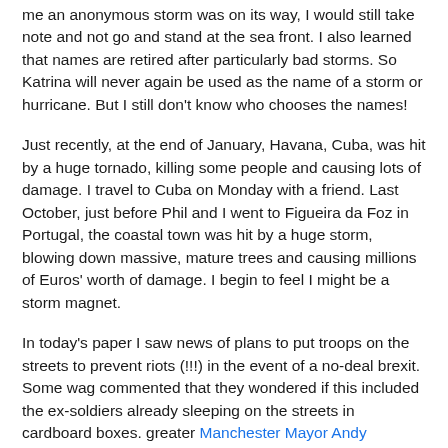me an anonymous storm was on its way, I would still take note and not go and stand at the sea front. I also learned that names are retired after particularly bad storms. So Katrina will never again be used as the name of a storm or hurricane. But I still don't know who chooses the names!
Just recently, at the end of January, Havana, Cuba, was hit by a huge tornado, killing some people and causing lots of damage. I travel to Cuba on Monday with a friend. Last October, just before Phil and I went to Figueira da Foz in Portugal, the coastal town was hit by a huge storm, blowing down massive, mature trees and causing millions of Euros' worth of damage. I begin to feel I might be a storm magnet.
In today's paper I saw news of plans to put troops on the streets to prevent riots (!!!) in the event of a no-deal brexit. Some wag commented that they wondered if this included the ex-soldiers already sleeping on the streets in cardboard boxes. greater Manchester Mayor Andy Burnham apparently donates a chunk of his salary every year to help the homeless.